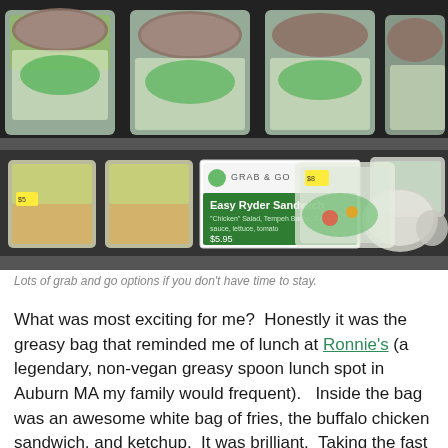[Figure (photo): Photo of a refrigerated deli case showing grab-and-go food items in clear plastic containers including sandwiches and salads, with a green sign reading 'Easy Ryder Sandwich - Chicken Salad, Tempeh Bacon, Chipotle sauce, lettuce, tomato - $5.95' under a 'Grab & Go' logo.]
Lots of grab and go options if you don't have time to stay.
What was most exciting for me?  Honestly it was the greasy bag that reminded me of lunch at Ronnie's (a legendary, non-vegan greasy spoon lunch spot in Auburn MA my family would frequent).   Inside the bag was an awesome white bag of fries, the buffalo chicken sandwich, and ketchup.  It was brilliant.  Taking the fast food theme even further, a voice squawked over the intercom when my order was ready to be picked up at